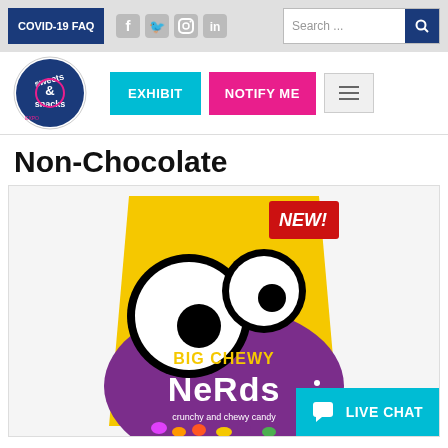COVID-19 FAQ | Social icons: Facebook, Twitter, Instagram, LinkedIn | Search bar | Search button
[Figure (logo): Sweets & Snacks Expo circular logo with EXHIBIT and NOTIFY ME navigation buttons and hamburger menu button]
Non-Chocolate
[Figure (photo): Big Chewy Nerds candy bag with purple and yellow packaging, googly eyes character, 'NEW!' label in red, 'crunchy and chewy candy' text, with a Live Chat button overlay in cyan at bottom right]